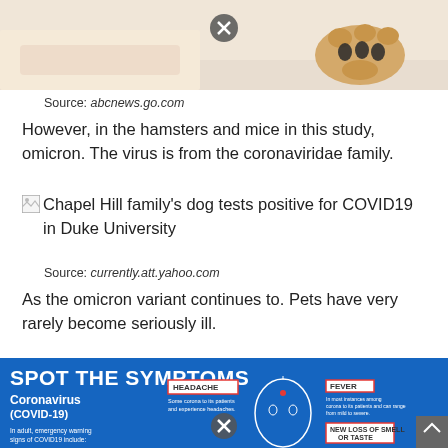[Figure (photo): Partial photo of a dog (golden retriever) with paw visible, top of page cropped]
Source: abcnews.go.com
However, in the hamsters and mice in this study, omicron. The virus is from the coronaviridae family.
[Figure (photo): Broken image placeholder with alt text: Chapel Hill family's dog tests positive for COVID19 in Duke University]
Source: currently.att.yahoo.com
As the omicron variant continues to. Pets have very rarely become seriously ill.
[Figure (infographic): SPOT THE SYMPTOMS infographic about Coronavirus (COVID-19) showing headache, fever, and new loss of smell or taste symptoms with a face diagram]